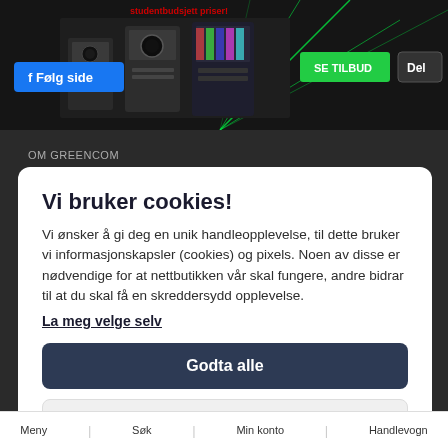[Figure (screenshot): Website banner showing gaming PC towers with green laser effects, Facebook 'Følg side' button, green 'SE TILBUD' button, and 'Del' share button. Red text 'studentbudsjett priser!' at top.]
OM GREENCOM
Vi bruker cookies!
Vi ønsker å gi deg en unik handleopplevelse, til dette bruker vi informasjonskapsler (cookies) og pixels. Noen av disse er nødvendige for at nettbutikken vår skal fungere, andre bidrar til at du skal få en skreddersydd opplevelse.
La meg velge selv
Godta alle
Godta kun nødvendige
Meny | Søk | Min konto | Handlevogn